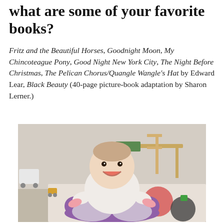what are some of your favorite books?
Fritz and the Beautiful Horses, Goodnight Moon, My Chincoteague Pony, Good Night New York City, The Night Before Christmas, The Pelican Chorus/Quangle Wangle's Hat by Edward Lear, Black Beauty (40-page picture-book adaptation by Sharon Lerner.)
[Figure (photo): A smiling baby sitting in a purple Bumbo seat on a colorful foam play mat. The baby is wearing a white outfit with pink cuffs. In the background are wooden children's chairs, a table, a toy cart, and a patterned rug with circles.]